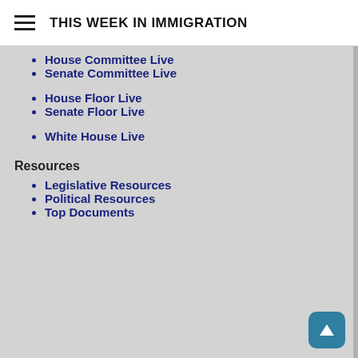THIS WEEK IN IMMIGRATION
House Committee Live
Senate Committee Live
House Floor Live
Senate Floor Live
White House Live
Resources
Legislative Resources
Political Resources
Top Documents